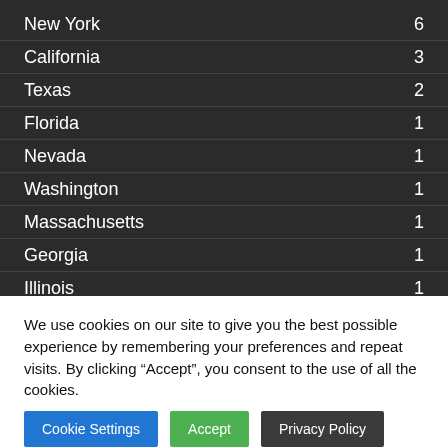New York 6
California 3
Texas 2
Florida 1
Nevada 1
Washington 1
Massachusetts 1
Georgia 1
Illinois 1
We use cookies on our site to give you the best possible experience by remembering your preferences and repeat visits. By clicking “Accept”, you consent to the use of all the cookies.
Cookie Settings | Accept | Privacy Policy